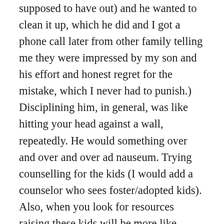supposed to have out) and he wanted to clean it up, which he did and I got a phone call later from other family telling me they were impressed by my son and his effort and honest regret for the mistake, which I never had to punish.) Disciplining him, in general, was like hitting your head against a wall, repeatedly. He would something over and over and over ad nauseum. Trying counselling for the kids (I would add a counselor who sees foster/adopted kids). Also, when you look for resources raising these kids will be more like raising foster/adopted kids than biological kids; I now have both and while I love them the same I can raise my biological kids in a more relaxed manner than what worked with my adopted son. Get books for adopting